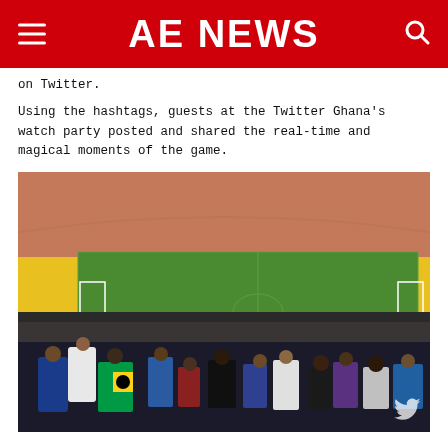AE NEWS
on Twitter.
Using the hashtags, guests at the Twitter Ghana's watch party posted and shared the real-time and magical moments of the game.
[Figure (photo): Stadium photo showing fans watching a football match at a large stadium with yellow and terracotta colored seats. Fans in the foreground, including someone draped in a Ghana flag. The football pitch is visible in the background.]